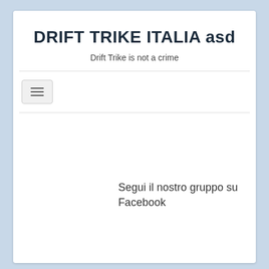DRIFT TRIKE ITALIA asd
Drift Trike is not a crime
[Figure (other): Hamburger menu toggle button with three horizontal lines]
Segui il nostro gruppo su Facebook